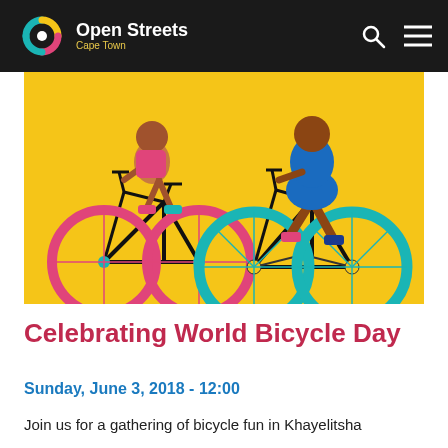Open Streets Cape Town
[Figure (illustration): Colorful illustration of cyclists on bicycles with a bright yellow background. Features people of color riding bikes with pink and teal colored bicycle wheels, wearing blue and colorful clothing.]
Celebrating World Bicycle Day
Sunday, June 3, 2018 - 12:00
Join us for a gathering of bicycle fun in Khayelitsha